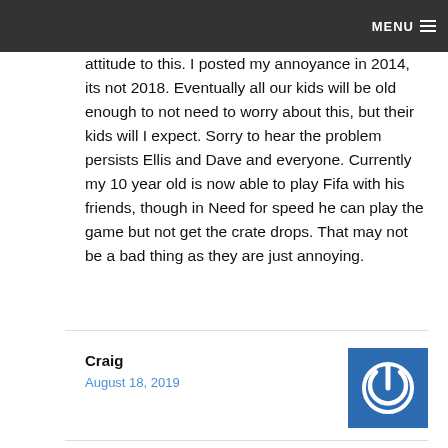MENU
attitude to this. I posted my annoyance in 2014, its not 2018. Eventually all our kids will be old enough to not need to worry about this, but their kids will I expect. Sorry to hear the problem persists Ellis and Dave and everyone. Currently my 10 year old is now able to play Fifa with his friends, though in Need for speed he can play the game but not get the crate drops. That may not be a bad thing as they are just annoying.
Craig
August 18, 2019
[Figure (logo): Blue square avatar icon with a white power/on button symbol in the center]